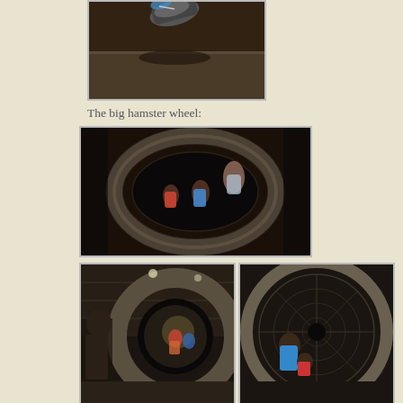[Figure (photo): Partial photo cropped at top of page showing a shoe/foot at the top and a dark brown floor below, appears to be someone sliding down something]
The big hamster wheel:
[Figure (photo): Wide-angle fisheye photo of children and adults inside a large circular hamster wheel structure in a dark industrial setting]
[Figure (photo): Photo of children and adults playing in a large circular wheel/tunnel structure in an industrial/warehouse setting, viewed from outside]
[Figure (photo): Photo of children inside a circular mesh hamster wheel structure, viewed from outside showing the circular grid pattern]